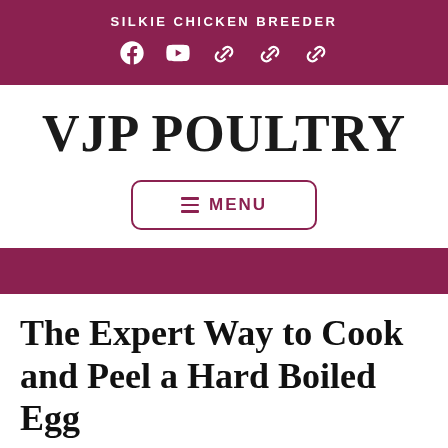SILKIE CHICKEN BREEDER
VJP POULTRY
≡ MENU
The Expert Way to Cook and Peel a Hard Boiled Egg